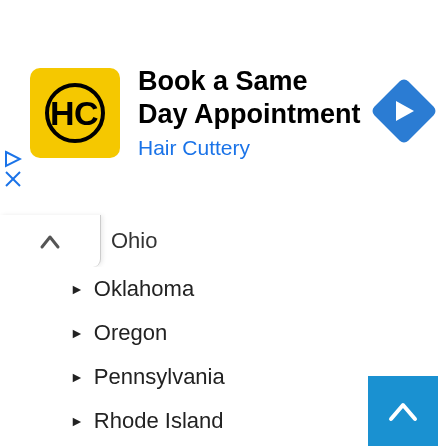[Figure (screenshot): Hair Cuttery advertisement banner with yellow logo, 'Book a Same Day Appointment' title, and blue navigation arrow icon]
Ohio
Oklahoma
Oregon
Pennsylvania
Rhode Island
» South Carolina
Tennessee
Texas
Utah
Virginia
Washington
» Washington DC
» West Virginia
Wisconsin
» Wyoming